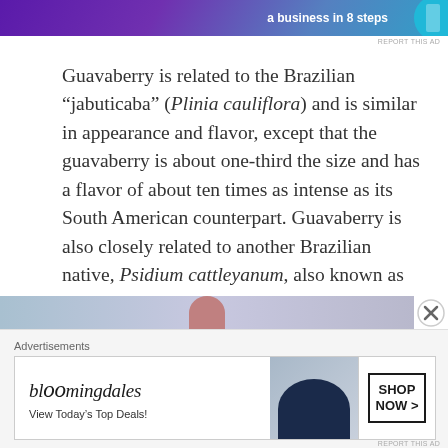[Figure (screenshot): Top advertisement banner with purple/blue gradient background and text 'a business in 8 steps']
Guavaberry is related to the Brazilian “jabuticaba” (Plinia cauliflora) and is similar in appearance and flavor, except that the guavaberry is about one-third the size and has a flavor of about ten times as intense as its South American counterpart. Guavaberry is also closely related to another Brazilian native, Psidium cattleyanum, also known as strawberry guava or cherry guava, and like guavaberry, comes in two varieties, purple-red and yellow.
[Figure (screenshot): Partial image strip showing a person's photo at bottom of content area]
Advertisements
[Figure (screenshot): Bloomingdales advertisement banner: 'bloomingdales View Today’s Top Deals! SHOP NOW >']